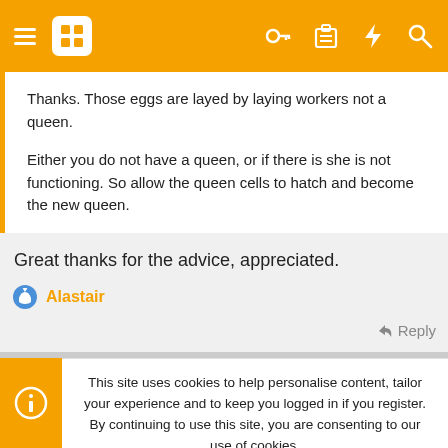Navigation bar with hamburger menu, grid icon, and action icons
Thanks. Those eggs are layed by laying workers not a queen.

Either you do not have a queen, or if there is she is not functioning. So allow the queen cells to hatch and become the new queen.
Great thanks for the advice, appreciated.
Alastair
↩ Reply
This site uses cookies to help personalise content, tailor your experience and to keep you logged in if you register.
By continuing to use this site, you are consenting to our use of cookies.